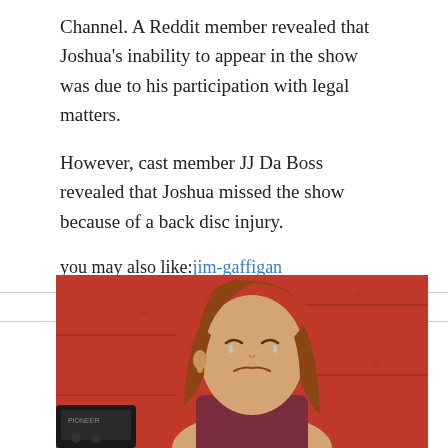Channel. A Reddit member revealed that Joshua's inability to appear in the show was due to his participation with legal matters.
However, cast member JJ Da Boss revealed that Joshua missed the show because of a back disc injury.
you may also like:jim-gaffigan
PROMOTED CONTENT
[Figure (photo): A woman with long reddish-brown hair crying or grimacing emotionally, standing in front of a red background. She is wearing a dark red/maroon top.]